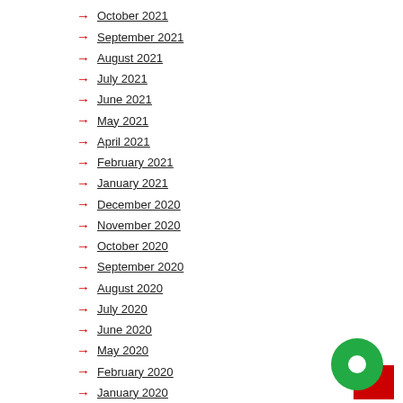October 2021
September 2021
August 2021
July 2021
June 2021
May 2021
April 2021
February 2021
January 2021
December 2020
November 2020
October 2020
September 2020
August 2020
July 2020
June 2020
May 2020
February 2020
January 2020
December 2019